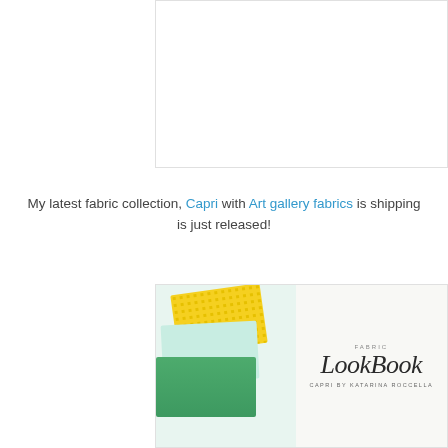[Figure (photo): White rectangle placeholder image at top right area of page]
My latest fabric collection, Capri with Art gallery fabrics is shipping is just released!
[Figure (photo): Fabric Lookbook cover image showing fabric swatches (yellow dotted, floral/lemon, colorful village print) on white wood background with 'Fabric LookBook CAPRI by KATARINA ROCCELLA' text on right side]